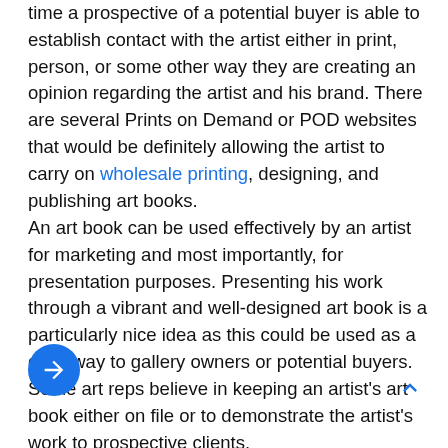time a prospective of a potential buyer is able to establish contact with the artist either in print, person, or some other way they are creating an opinion regarding the artist and his brand. There are several Prints on Demand or POD websites that would be definitely allowing the artist to carry on wholesale printing, designing, and publishing art books.
An art book can be used effectively by an artist for marketing and most importantly, for presentation purposes. Presenting his work through a vibrant and well-designed art book is a particularly nice idea as this could be used as a giveaway to gallery owners or potential buyers. Some art reps believe in keeping an artist's art book either on file or to demonstrate the artist's work to prospective clients.